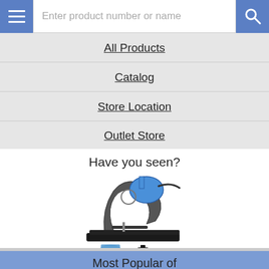Enter product number or name
All Products
Catalog
Store Location
Outlet Store
Have you seen?
[Figure (photo): Band Saw, Bench Top product image showing a blue and black bench-top band saw]
Band Saw, Bench Top
Most Popular of End Mills
[Figure (photo): End mills set in a wooden box, showing multiple gold-colored end mill drill bits]